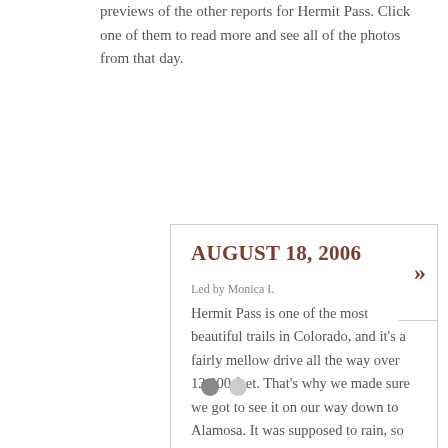previews of the other reports for Hermit Pass. Click one of them to read more and see all of the photos from that day.
AUGUST 18, 2006
Led by Monica I.
Hermit Pass is one of the most beautiful trails in Colorado, and it's a fairly mellow drive all the way over 13,000 feet. That's why we made sure we got to see it on our way down to Alamosa. It was supposed to rain, so we were prepared. When we...